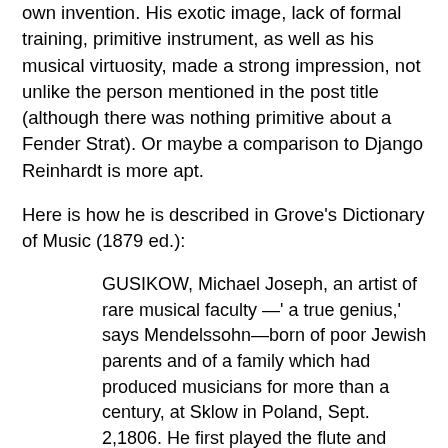own invention. His exotic image, lack of formal training, primitive instrument, as well as his musical virtuosity, made a strong impression, not unlike the person mentioned in the post title (although there was nothing primitive about a Fender Strat). Or maybe a comparison to Django Reinhardt is more apt.
Here is how he is described in Grove's Dictionary of Music (1879 ed.):
GUSIKOW, Michael Joseph, an artist of rare musical faculty —' a true genius,' says Mendelssohn—born of poor Jewish parents and of a family which had produced musicians for more than a century, at Sklow in Poland, Sept. 2,1806. He first played the flute and tympanon, a kind of dulcimer. At the age of seventeen he married, and a few years after discovered that weakness of the chest would not allow him to continue playing the flute. He thereupon took up the Strohfiedel, an instrument of the dulcimer kind, composed of strips of fir on a framework of straws, which he improved and increased in